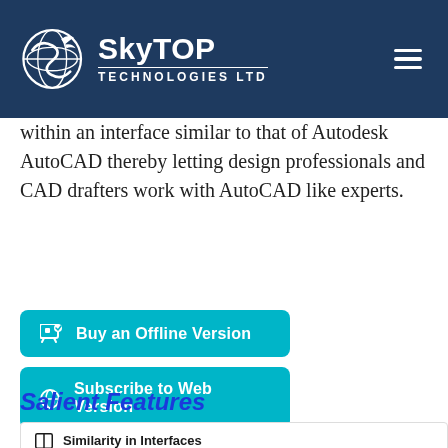SkyTOP Technologies Ltd
within an interface similar to that of Autodesk AutoCAD thereby letting design professionals and CAD drafters work with AutoCAD like experts.
Buy an Offline Version
Subscribe to Web Version
Salient Features
Similarity in Interfaces